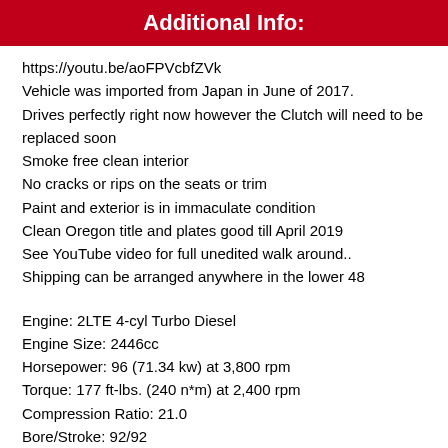Additional Info:
https://youtu.be/aoFPVcbfZVk
Vehicle was imported from Japan in June of 2017.
Drives perfectly right now however the Clutch will need to be replaced soon
Smoke free clean interior
No cracks or rips on the seats or trim
Paint and exterior is in immaculate condition
Clean Oregon title and plates good till April 2019
See YouTube video for full unedited walk around..
Shipping can be arranged anywhere in the lower 48
Engine: 2LTE 4-cyl Turbo Diesel
Engine Size: 2446cc
Horsepower: 96 (71.34 kw) at 3,800 rpm
Torque: 177 ft-lbs. (240 n*m) at 2,400 rpm
Compression Ratio: 21.0
Bore/Stroke: 92/92
Fuel Tank: 24 gallons (90L)
Maximum Range: 590 miles (950 km)
Fuel Economy: 25mpg Highway (9.5L/100km)
Transmission: 5-Speed Manual R150F